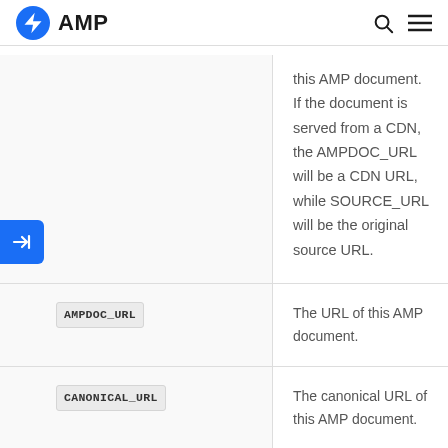AMP
| Variable | Description |
| --- | --- |
|  | this AMP document. If the document is served from a CDN, the AMPDOC_URL will be a CDN URL, while SOURCE_URL will be the original source URL. |
| AMPDOC_URL | The URL of this AMP document. |
| CANONICAL_URL | The canonical URL of this AMP document. |
| DOCUMENT_REFERRER | The Referrer URL. |